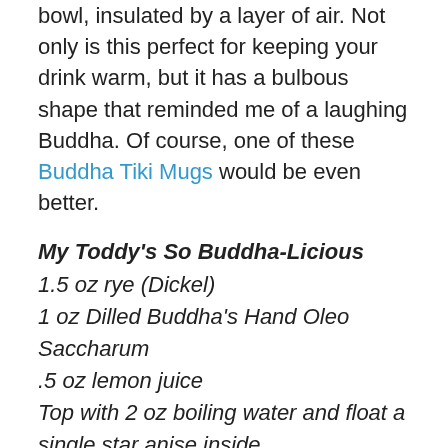bowl, insulated by a layer of air. Not only is this perfect for keeping your drink warm, but it has a bulbous shape that reminded me of a laughing Buddha. Of course, one of these Buddha Tiki Mugs would be even better.
My Toddy's So Buddha-Licious
1.5 oz rye (Dickel)
1 oz Dilled Buddha's Hand Oleo Saccharum
.5 oz lemon juice
Top with 2 oz boiling water and float a single star anise inside.
As you will recall, the Buddha's hand oleo from last week had some dill in it, but by the time I made this drink a couple days later, the dill flavor had mellowed substantially. I chose rye to further blur the flavor of dill in the drink, a job it did admirably owing to its pickley notes. Lemon flavor is similar enough to Buddha's hand that it